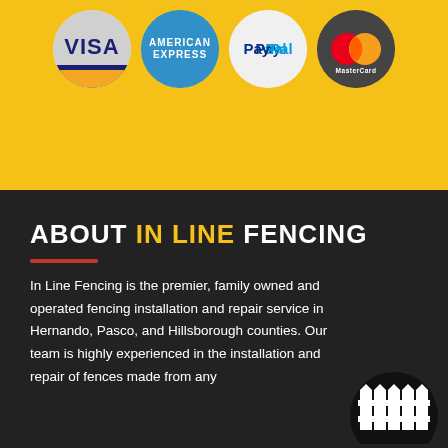[Figure (logo): Payment method icons: Visa, American Express, PayPal, MasterCard in circular badges on yellow background]
ABOUT IN LINE FENCING
In Line Fencing is the premier, family owned and operated fencing installation and repair service in Hernando, Pasco, and Hillsborough counties. Our team is highly experienced in the installation and repair of fences made from any